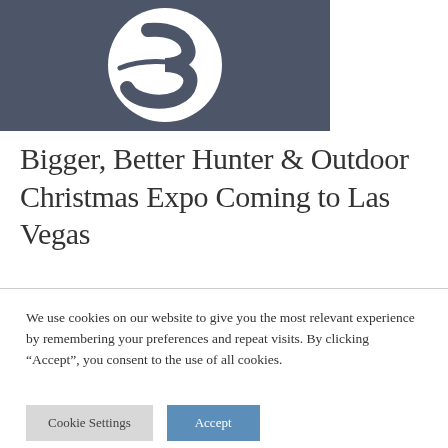[Figure (logo): A logo on a slate-blue/grey background showing a white circular emblem with a stylized number 3 or river/wave shape inside.]
Bigger, Better Hunter & Outdoor Christmas Expo Coming to Las Vegas
We use cookies on our website to give you the most relevant experience by remembering your preferences and repeat visits. By clicking “Accept”, you consent to the use of all cookies.